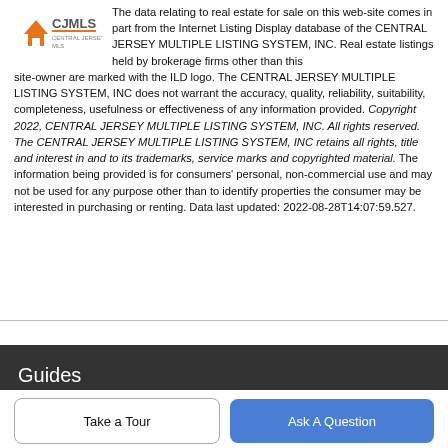[Figure (logo): CJMLS logo - house icon with orange color and text CJMLS]
The data relating to real estate for sale on this web-site comes in part from the Internet Listing Display database of the CENTRAL JERSEY MULTIPLE LISTING SYSTEM, INC. Real estate listings held by brokerage firms other than this site-owner are marked with the ILD logo. The CENTRAL JERSEY MULTIPLE LISTING SYSTEM, INC does not warrant the accuracy, quality, reliability, suitability, completeness, usefulness or effectiveness of any information provided. Copyright 2022, CENTRAL JERSEY MULTIPLE LISTING SYSTEM, INC. All rights reserved. The CENTRAL JERSEY MULTIPLE LISTING SYSTEM, INC retains all rights, title and interest in and to its trademarks, service marks and copyrighted material. The information being provided is for consumers' personal, non-commercial use and may not be used for any purpose other than to identify properties the consumer may be interested in purchasing or renting. Data last updated: 2022-08-28T14:07:59.527.
Guides
Take a Tour
Ask A Question